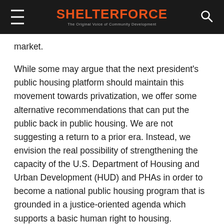SHELTERFORCE — The Original Voice of Community Development
market.
While some may argue that the next president's public housing platform should maintain this movement towards privatization, we offer some alternative recommendations that can put the public back in public housing. We are not suggesting a return to a prior era. Instead, we envision the real possibility of strengthening the capacity of the U.S. Department of Housing and Urban Development (HUD) and PHAs in order to become a national public housing program that is grounded in a justice-oriented agenda which supports a basic human right to housing. However, to do this we do need to adhere to some fundamentals of public housing, including the commitment to keeping a portion of rental housing stock indefinitely out of the speculative market.